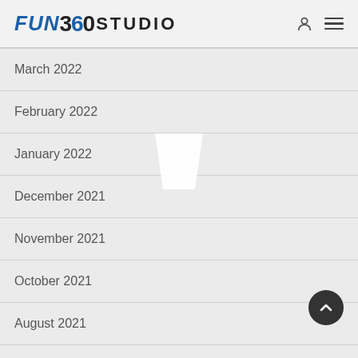FUN 360 STUDIO
March 2022
February 2022
January 2022
December 2021
November 2021
October 2021
August 2021